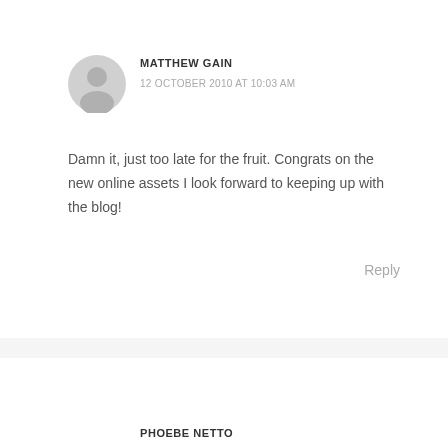[Figure (illustration): Generic user avatar icon, circular grey silhouette]
MATTHEW GAIN
12 OCTOBER 2010 AT 10:03 AM
Damn it, just too late for the fruit. Congrats on the new online assets I look forward to keeping up with the blog!
Reply
PHOEBE NETTO